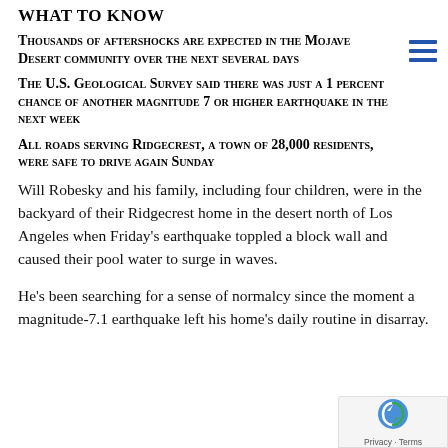What to Know
Thousands of aftershocks are expected in the Mojave Desert community over the next several days
The U.S. Geological Survey said there was just a 1 percent chance of another magnitude 7 or higher earthquake in the next week
All roads serving Ridgecrest, a town of 28,000 residents, were safe to drive again Sunday
Will Robesky and his family, including four children, were in the backyard of their Ridgecrest home in the desert north of Los Angeles when Friday's earthquake toppled a block wall and caused their pool water to surge in waves.
He's been searching for a sense of normalcy since the moment a magnitude-7.1 earthquake left his home's daily routine in disarray.